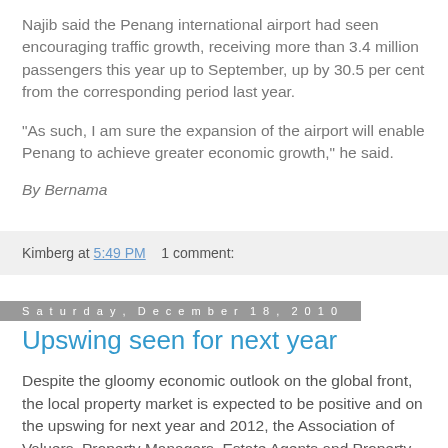Najib said the Penang international airport had seen encouraging traffic growth, receiving more than 3.4 million passengers this year up to September, up by 30.5 per cent from the corresponding period last year.
"As such, I am sure the expansion of the airport will enable Penang to achieve greater economic growth," he said.
By Bernama
Kimberg at 5:49 PM    1 comment:
Saturday, December 18, 2010
Upswing seen for next year
Despite the gloomy economic outlook on the global front, the local property market is expected to be positive and on the upswing for next year and 2012, the Association of Valuers, Property Managers, Estate Agents and Property Consultants